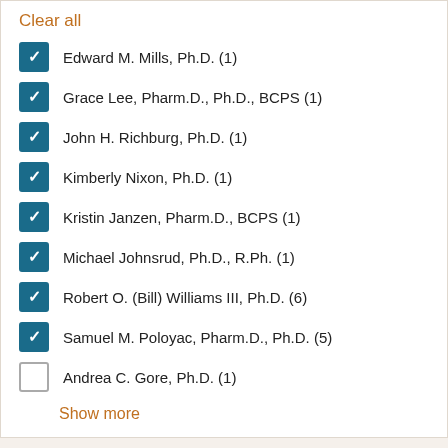Clear all
Edward M. Mills, Ph.D. (1)
Grace Lee, Pharm.D., Ph.D., BCPS (1)
John H. Richburg, Ph.D. (1)
Kimberly Nixon, Ph.D. (1)
Kristin Janzen, Pharm.D., BCPS (1)
Michael Johnsrud, Ph.D., R.Ph. (1)
Robert O. (Bill) Williams III, Ph.D. (6)
Samuel M. Poloyac, Pharm.D., Ph.D. (5)
Andrea C. Gore, Ph.D. (1)
Show more
Filter by news tag